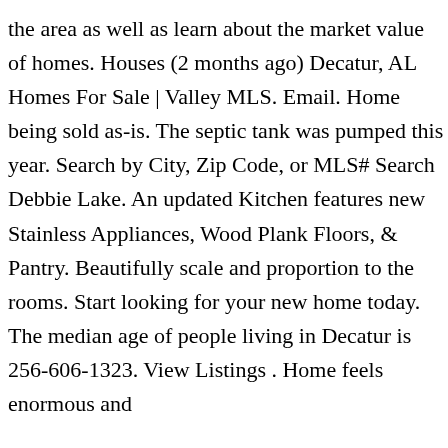the area as well as learn about the market value of homes. Houses (2 months ago) Decatur, AL Homes For Sale | Valley MLS. Email. Home being sold as-is. The septic tank was pumped this year. Search by City, Zip Code, or MLS# Search Debbie Lake. An updated Kitchen features new Stainless Appliances, Wood Plank Floors, & Pantry. Beautifully scale and proportion to the rooms. Start looking for your new home today. The median age of people living in Decatur is 256-606-1323. View Listings . Home feels enormous and